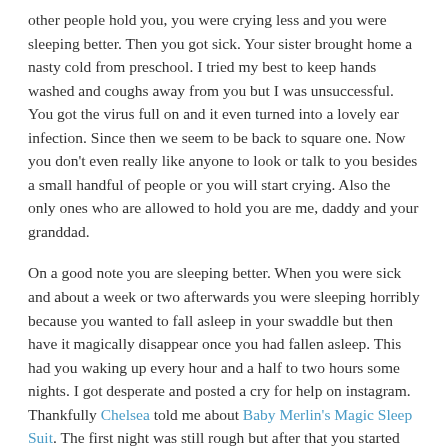other people hold you, you were crying less and you were sleeping better. Then you got sick. Your sister brought home a nasty cold from preschool. I tried my best to keep hands washed and coughs away from you but I was unsuccessful. You got the virus full on and it even turned into a lovely ear infection. Since then we seem to be back to square one. Now you don't even really like anyone to look or talk to you besides a small handful of people or you will start crying. Also the only ones who are allowed to hold you are me, daddy and your granddad.
On a good note you are sleeping better. When you were sick and about a week or two afterwards you were sleeping horribly because you wanted to fall asleep in your swaddle but then have it magically disappear once you had fallen asleep. This had you waking up every hour and a half to two hours some nights. I got desperate and posted a cry for help on instagram. Thankfully Chelsea told me about Baby Merlin's Magic Sleep Suit. The first night was still rough but after that you started only waking up one to two times a night and going right back down. It has been glorious, I'm so happy that we found something that you like and makes you